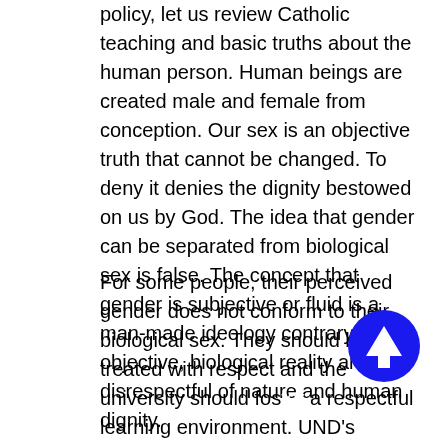policy, let us review Catholic teaching and basic truths about the human person. Human beings are created male and female from conception. Our sex is an objective truth that cannot be changed. To deny it denies the dignity bestowed on us by God. The idea that gender can be separated from biological sex is false. The concept that gender is subjective or fluid is a man-made ideology contrary to objective, biological reality and disrespectful of nature and human dignity.
For some people, their perceived gender does not conform to their biological sex. They should be treated with respect and the university should foster a respectful learning environment. UND's proposal, however, goes beyond setting mere rules for administration respecting a person's preferred name